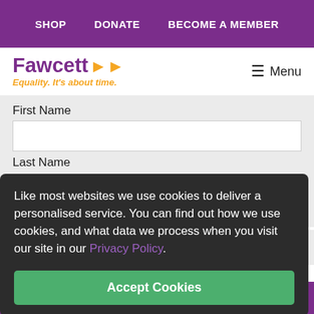SHOP   DONATE   BECOME A MEMBER
[Figure (logo): Fawcett Society logo with purple text 'Fawcett' with orange double arrows, orange italic tagline 'Equality. It's about time.']
≡ Menu
First Name
Last Name
Email Address
Like most websites we use cookies to deliver a personalised service. You can find out how we use cookies, and what data we process when you visit our site in our Privacy Policy.
Accept Cookies
SUBSCRIBE